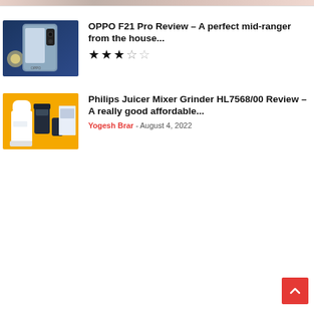[Figure (photo): Partial strip of a previous article thumbnail image at the top of the page]
[Figure (photo): OPPO F21 Pro smartphone shown against a blue background]
OPPO F21 Pro Review – A perfect mid-ranger from the house...
[Figure (other): Star rating: 3.5 out of 5 stars]
[Figure (photo): Philips Juicer Mixer Grinder HL7568/00 product image against yellow background]
Philips Juicer Mixer Grinder HL7568/00 Review – A really good affordable...
Yogesh Brar - August 4, 2022